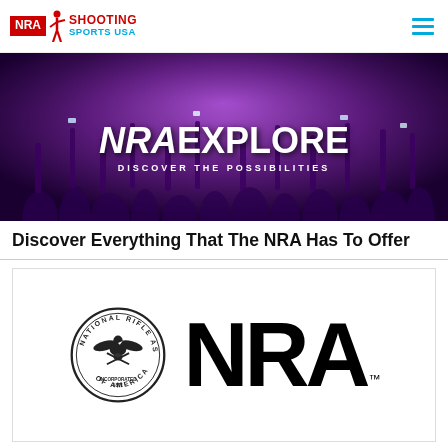NRA Shooting Sports USA
[Figure (photo): NRA Explore banner with crowd raising hands under purple lighting. Text reads 'NRAEXPLORE - DISCOVER THE POSSIBILITIES']
Discover Everything That The NRA Has To Offer
[Figure (logo): NRA logo: National Rifle Association of America circular seal on the left, and large bold 'NRA' text with trademark symbol on the right]